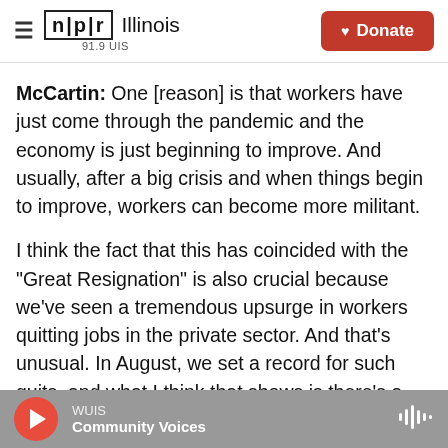NPR Illinois 91.9 UIS | Donate
McCartin: One [reason] is that workers have just come through the pandemic and the economy is just beginning to improve. And usually, after a big crisis and when things begin to improve, workers can become more militant.
I think the fact that this has coincided with the "Great Resignation" is also crucial because we've seen a tremendous upsurge in workers quitting jobs in the private sector. And that's unusual. In August, we set a record for such quits, and what I think that shows is there's a broad dissatisfaction that workers feel and that's giving workers who are
WUIS | Community Voices